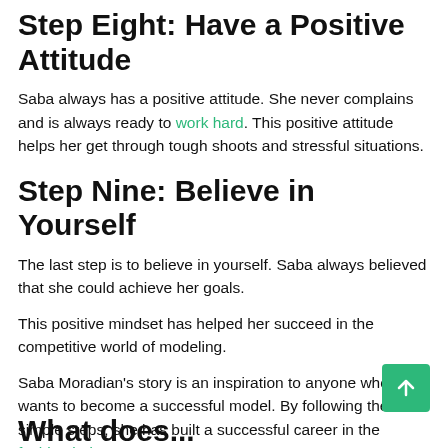Step Eight: Have a Positive Attitude
Saba always has a positive attitude. She never complains and is always ready to work hard. This positive attitude helps her get through tough shoots and stressful situations.
Step Nine: Believe in Yourself
The last step is to believe in yourself. Saba always believed that she could achieve her goals.
This positive mindset has helped her succeed in the competitive world of modeling.
Saba Moradian’s story is an inspiration to anyone who wants to become a successful model. By following these simple steps, she has built a successful career in the fashion industry.
What does...